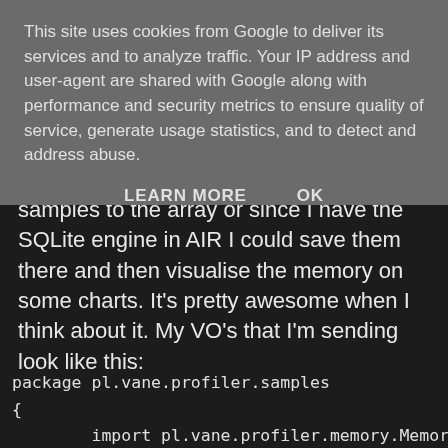This site uses cookies from Google to deliver its services and to analyze traffic. Your IP address and user-agent are shared with Google along with performance and security metrics to ensure quality of service, generate usage statistics, and to detect and address abuse.
LEARN MORE   OK
samples to the array or since I have the SQLite engine in AIR I could save them there and then visualise the memory on some charts. It's pretty awesome when I think about it. My VO's that I'm sending look like this:
package pl.vane.profiler.samples
{
        import pl.vane.profiler.memory.MemoryUtils;

        [RemoteClass("pl.vane.profiler.samples.MemorySamp
        public class MemorySample
        {

                public var freeMemory:Number;
                public var privateMemory:Number;
                public var totalMemory:Number;